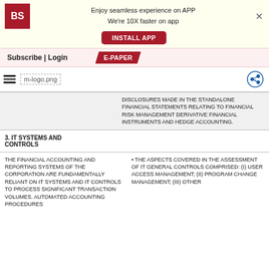[Figure (logo): Business Standard app banner with BS logo, install app button]
Subscribe | Login   E-PAPER
[Figure (logo): m-logo.png with hamburger menu and share icon]
DISCLOSURES MADE IN THE STANDALONE FINANCIAL STATEMENTS RELATING TO FINANCIAL RISK MANAGEMENT DERIVATIVE FINANCIAL INSTRUMENTS AND HEDGE ACCOUNTING.
3. IT SYSTEMS AND CONTROLS
THE FINANCIAL ACCOUNTING AND REPORTING SYSTEMS OF THE CORPORATION ARE FUNDAMENTALLY RELIANT ON IT SYSTEMS AND IT CONTROLS TO PROCESS SIGNIFICANT TRANSACTION VOLUMES. AUTOMATED ACCOUNTING PROCEDURES
• THE ASPECTS COVERED IN THE ASSESSMENT OF IT GENERAL CONTROLS COMPRISED: (I) USER ACCESS MANAGEMENT; (II) PROGRAM CHANGE MANAGEMENT; (III) OTHER